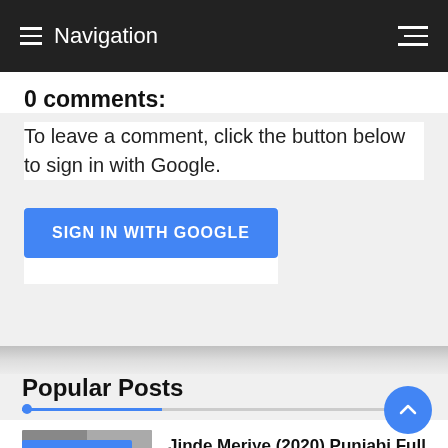Navigation
0 comments:
To leave a comment, click the button below to sign in with Google.
SIGN IN WITH GOOGLE
Popular Posts
Jinde Meriye (2020) Punjabi Full Movie Download Leaked By Tamilrockers